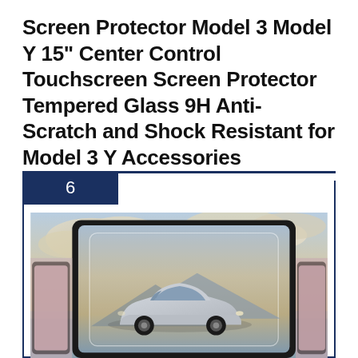Screen Protector Model 3 Model Y 15" Center Control Touchscreen Screen Protector Tempered Glass 9H Anti-Scratch and Shock Resistant for Model 3 Y Accessories
[Figure (photo): Product listing card with a dark navy border and badge showing the number 6. Inside the card is a product photo showing a Tesla Model 3 car rendered on a tablet/screen display with a screen protector overlay, set against a dramatic cloudy sky background.]